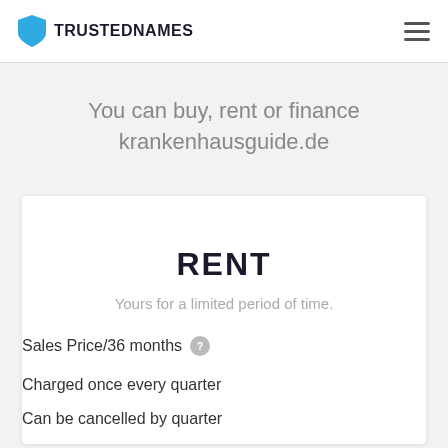TRUSTEDNAMES
Your Options
You can buy, rent or finance krankenhausguide.de
RENT
Yours for a limited period of time.
Sales Price/36 months
Charged once every quarter
Can be cancelled by quarter
DNS will be changed to your server